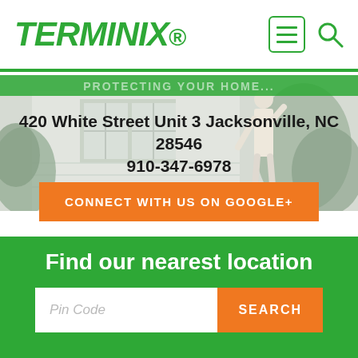[Figure (logo): Terminix green italic logo with trademark dot]
[Figure (screenshot): Mobile website screenshot showing Terminix location page with hero image of pest control technician inspecting a house, address, phone number, Google+ connect button, and find nearest location search area]
420 White Street Unit 3 Jacksonville, NC 28546
910-347-6978
CONNECT WITH US ON GOOGLE+
Find our nearest location
Pin Code
SEARCH